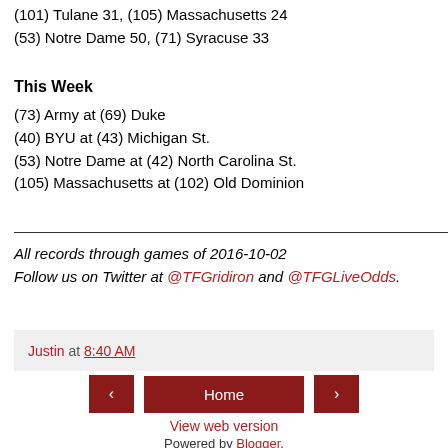(101) Tulane 31, (105) Massachusetts 24
(53) Notre Dame 50, (71) Syracuse 33
This Week
(73) Army at (69) Duke
(40) BYU at (43) Michigan St.
(53) Notre Dame at (42) North Carolina St.
(105) Massachusetts at (102) Old Dominion
All records through games of 2016-10-02
Follow us on Twitter at @TFGridiron and @TFGLiveOdds.
Justin at 8:40 AM
Home
View web version
Powered by Blogger.